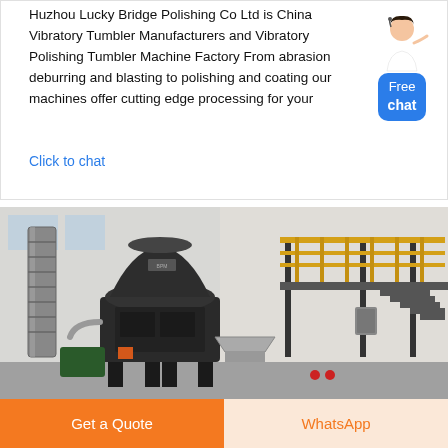Huzhou Lucky Bridge Polishing Co Ltd is China Vibratory Tumbler Manufacturers and Vibratory Polishing Tumbler Machine Factory From abrasion deburring and blasting to polishing and coating our machines offer cutting edge processing for your
Click to chat
[Figure (photo): Industrial factory interior showing large dark-colored vibratory tumbler/grinding machine with cylindrical ventilation duct on the left, a mezzanine level with yellow safety railings in the background, and various industrial equipment on the factory floor.]
Get a Quote
WhatsApp